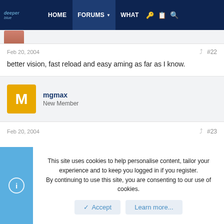deeper blue | HOME | FORUMS | WHAT
[Figure (photo): Partial face avatar image at top of post]
Feb 20, 2004
#22
better vision, fast reload and easy aming as far as I know.
mgmax
New Member
Feb 20, 2004
#23
This site uses cookies to help personalise content, tailor your experience and to keep you logged in if you register.
By continuing to use this site, you are consenting to our use of cookies.